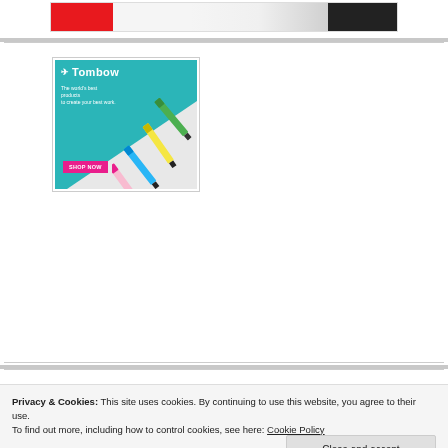[Figure (screenshot): Partial view of a banner advertisement at the top of a webpage]
[Figure (photo): Tombow advertisement showing colorful marker pens (green, yellow, blue, pink) on a teal and white background with 'SHOP NOW' button]
Privacy & Cookies: This site uses cookies. By continuing to use this website, you agree to their use.
To find out more, including how to control cookies, see here: Cookie Policy
Close and accept